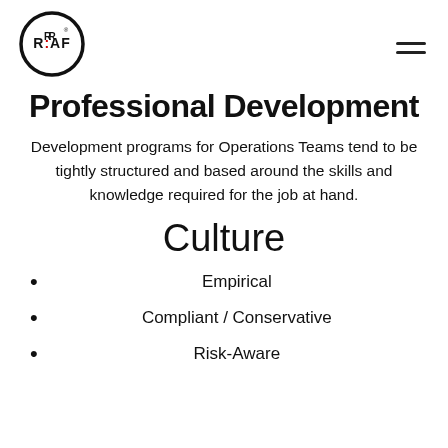[Figure (logo): R:AF logo in a circle with registered trademark symbol]
Professional Development
Development programs for Operations Teams tend to be tightly structured and based around the skills and knowledge required for the job at hand.
Culture
Empirical
Compliant / Conservative
Risk-Aware